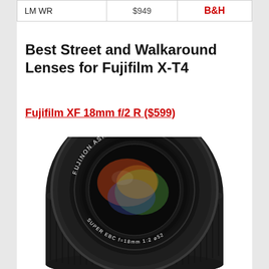|  |  |  |
| --- | --- | --- |
| LM WR | $949 | B&H |
Best Street and Walkaround Lenses for Fujifilm X-T4
Fujifilm XF 18mm f/2 R ($599)
[Figure (photo): Fujifilm XF 18mm f/2 R lens - black Fujinon aspherical lens with Super EBC coating, pancake-style lens viewed from front angle]